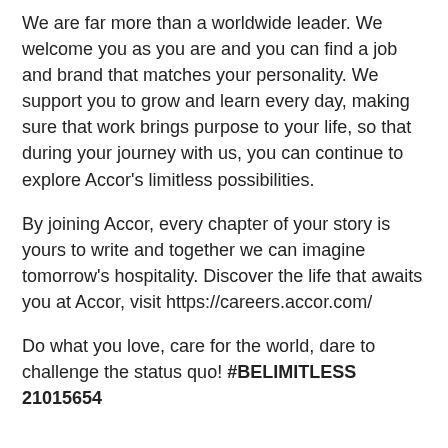We are far more than a worldwide leader. We welcome you as you are and you can find a job and brand that matches your personality. We support you to grow and learn every day, making sure that work brings purpose to your life, so that during your journey with us, you can continue to explore Accor's limitless possibilities.
By joining Accor, every chapter of your story is yours to write and together we can imagine tomorrow's hospitality. Discover the life that awaits you at Accor, visit https://careers.accor.com/
Do what you love, care for the world, dare to challenge the status quo! #BELIMITLESS 21015654